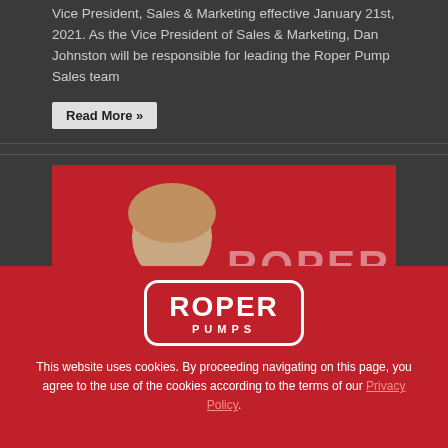Vice President, Sales & Marketing effective January 21st, 2021. As the Vice President of Sales & Marketing, Dan Johnston will be responsible for leading the Roper Pump Sales team
Read More »
[Figure (photo): Photo of a woman smiling in front of a red ROPER branded background]
[Figure (logo): Roper Pumps logo in white on red background, rounded rectangle border]
This website uses cookies. By proceeding navigating on this page, you agree to the use of the cookies according to the terms of our Privacy Policy.